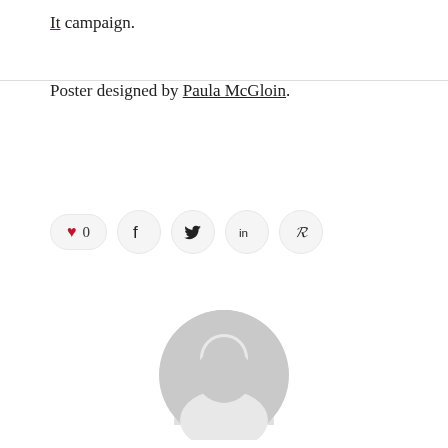It campaign.
Poster designed by Paula McGloin.
[Figure (infographic): Social sharing bar with heart/like button showing 0 likes, followed by Facebook, Twitter, LinkedIn, and Pinterest share icons]
[Figure (illustration): Generic grey user avatar (circular silhouette with head and shoulders)]
Steven